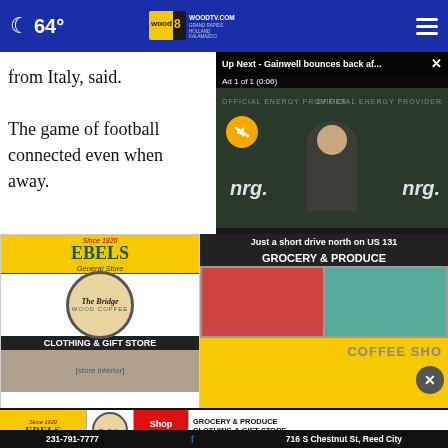64° WOODTV.COM GRAND RAPIDS HOLLAND KALAMAZOO wood 8
from Italy, said.

The game of football connected even when away.
[Figure (screenshot): Video player overlay showing 'Up Next - Gainwell bounces back af...' with ad 1 of 1 (0:06), showing a man at an Eagles NRG press conference backdrop, with a mute button icon]
[Figure (photo): Ebels General Store advertisement showing: Since 1920, EBELS General Store, The Bridge Wood Coffee logo, CLOTHING & GIFT STORE section with store interior photo, and GROCERY & PRODUCE section with produce/meat photos, COFFEE SHOP text, Just a short drive north on US 131]
[Figure (infographic): Ebels General Store bottom ad banner: Since 1920 EBELS General Store, The Bridge logo, Shop Today! button in red, GROCERY & PRODUCE CLOTHING & GIFT STORE COFFEE SHOP, 231-791-7777, 716 S Chestnut St, Reed City, Facebook icon]